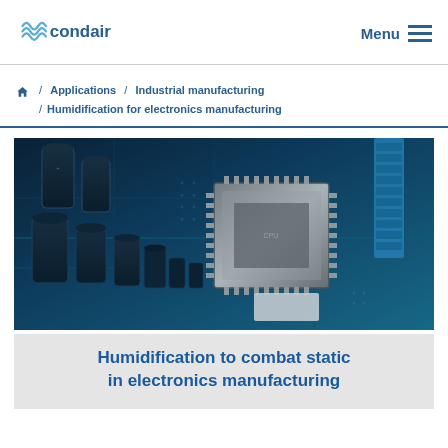condair | Menu
Home / Applications / Industrial manufacturing / Humidification for electronics manufacturing
[Figure (photo): Close-up photo of a blue-tinted electronics circuit board with capacitors, microchip processor, and electronic components]
Humidification to combat static in electronics manufacturing